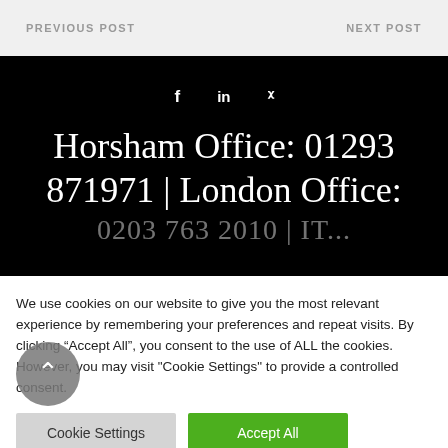PREVIOUS POST   NEXT POST
f  in  ʳ
Horsham Office: 01293 871971 | London Office: 0203 763 2010 | IT...
We use cookies on our website to give you the most relevant experience by remembering your preferences and repeat visits. By clicking “Accept All”, you consent to the use of ALL the cookies. However, you may visit "Cookie Settings" to provide a controlled consent.